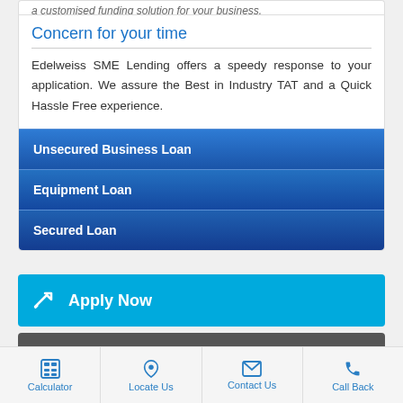a customised funding solution for your business.
Concern for your time
Edelweiss SME Lending offers a speedy response to your application. We assure the Best in Industry TAT and a Quick Hassle Free experience.
Unsecured Business Loan
Equipment Loan
Secured Loan
Apply Now
Calculate Now
Calculator  Locate Us  Contact Us  Call Back